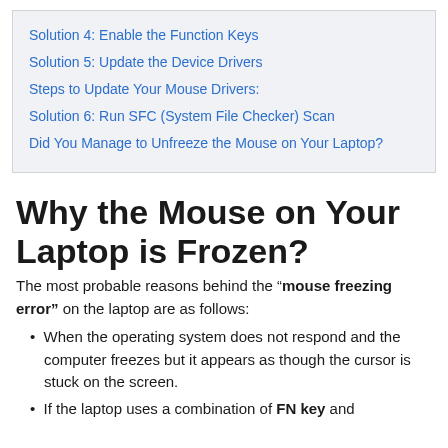Solution 4: Enable the Function Keys
Solution 5: Update the Device Drivers
Steps to Update Your Mouse Drivers:
Solution 6: Run SFC (System File Checker) Scan
Did You Manage to Unfreeze the Mouse on Your Laptop?
Why the Mouse on Your Laptop is Frozen?
The most probable reasons behind the “mouse freezing error” on the laptop are as follows:
When the operating system does not respond and the computer freezes but it appears as though the cursor is stuck on the screen.
If the laptop uses a combination of FN key and